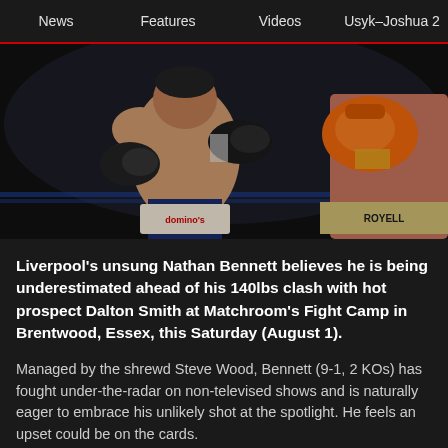News  Features  Videos  Usyk–Joshua 2
[Figure (photo): Two boxers in a ring, one in dark gloves in fighting stance, the other with orange gloves throwing a punch. Domino's Pizza advertisement visible on ring banner. Fight Camp setting.]
Liverpool's unsung Nathan Bennett believes he is being underestimated ahead of his 140lbs clash with hot prospect Dalton Smith at Matchroom's Fight Camp in Brentwood, Essex, this Saturday (August 1).
Managed by the shrewd Steve Wood, Bennett (9-1, 2 KOs) has fought under-the-radar on non-televised shows and is naturally eager to embrace his unlikely shot at the spotlight. He feels an upset could be on the cards.